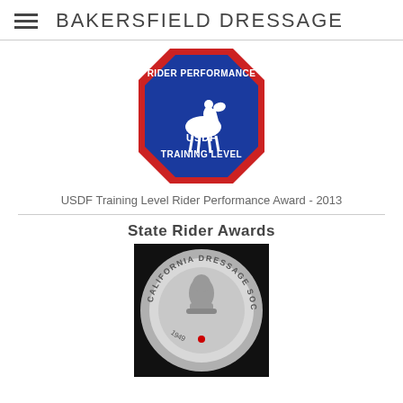BAKERSFIELD DRESSAGE
[Figure (photo): Blue octagonal USDF Rider Performance Training Level patch with red border and white embroidery showing a rider on horse]
USDF Training Level Rider Performance Award - 2013
State Rider Awards
[Figure (photo): Silver California Dressage Society medallion with horse head motif and red jewel accent]